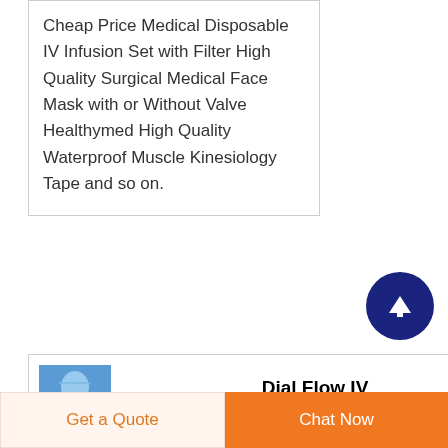Cheap Price Medical Disposable IV Infusion Set with Filter High Quality Surgical Medical Face Mask with or Without Valve Healthymed High Quality Waterproof Muscle Kinesiology Tape and so on.
[Figure (photo): Blue product image of IV infusion set]
Dial Flow IV Infusion Set
ડાયલ ફ્લો સેટ in GIDC Vatwa
Dial flow IV Infusion set comprises of a device that can
Get a Quote  Chat Now